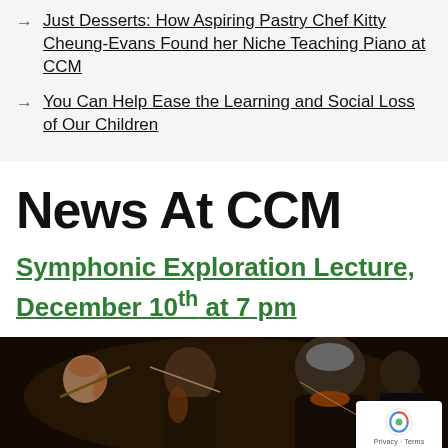Just Desserts: How Aspiring Pastry Chef Kitty Cheung-Evans Found her Niche Teaching Piano at CCM
You Can Help Ease the Learning and Social Loss of Our Children
News At CCM
Symphonic Exploration Lecture, December 10th at 7 pm
[Figure (photo): Orchestra musicians viewed from behind, playing string instruments in a dark performance hall]